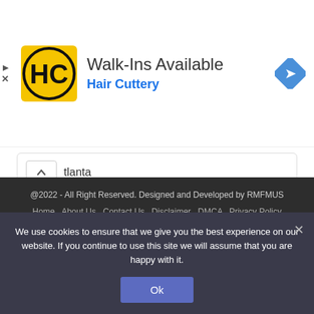[Figure (other): Hair Cuttery advertisement banner with logo, 'Walk-Ins Available' text, 'Hair Cuttery' subtitle in blue, and a navigation arrow icon]
tlanta
10 mins ago
Takeaways From MLB's New Top Prospect List | Minnesota Twins Top Prospects
@2022 - All Right Reserved. Designed and Developed by RMFMUS
Home   About Us   Contact Us   Disclaimer   DMCA   Privacy Policy
We use cookies to ensure that we give you the best experience on our website. If you continue to use this site we will assume that you are happy with it.
Ok